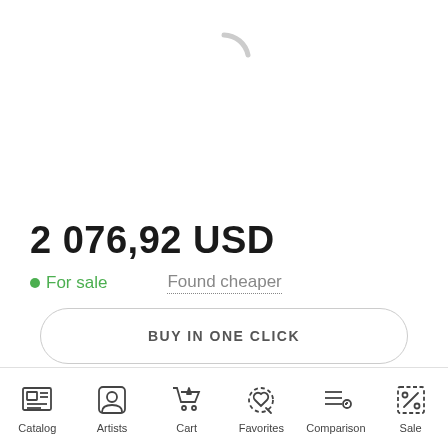[Figure (illustration): Loading spinner arc in light gray]
2 076,92 USD
• For sale    Found cheaper
BUY IN ONE CLICK
ADD TO CART
Catalog  Artists  Cart  Favorites  Comparison  Sale